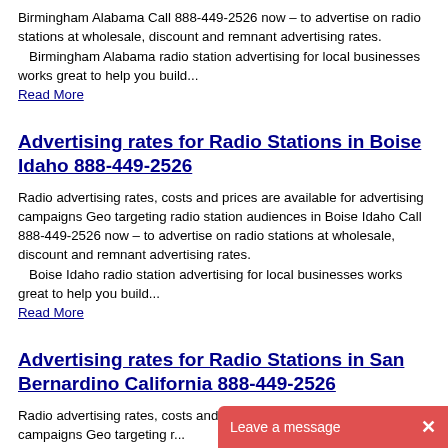Birmingham Alabama Call 888-449-2526 now – to advertise on radio stations at wholesale, discount and remnant advertising rates.   Birmingham Alabama radio station advertising for local businesses works great to help you build...
Read More
Advertising rates for Radio Stations in Boise Idaho 888-449-2526
Radio advertising rates, costs and prices are available for advertising campaigns Geo targeting radio station audiences in Boise Idaho Call 888-449-2526 now – to advertise on radio stations at wholesale, discount and remnant advertising rates.   Boise Idaho radio station advertising for local businesses works great to help you build...
Read More
Advertising rates for Radio Stations in San Bernardino California 888-449-2526
Radio advertising rates, costs and prices are available for advertising campaigns Geo targeting r... San Bernardino California Call 888-449-2...